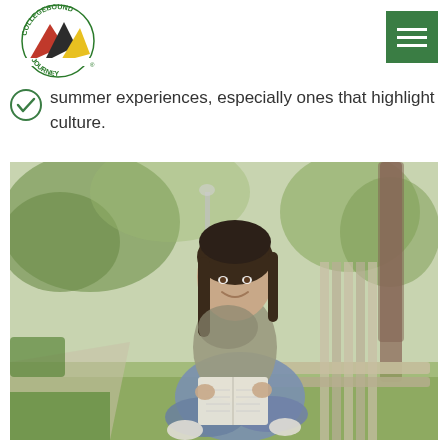CollegeBound Journey logo and navigation
summer experiences, especially ones that highlight culture.
[Figure (photo): A young woman with long dark hair sitting cross-legged on an outdoor bench in a park, smiling and reading an open book. Background shows green trees and a pathway.]